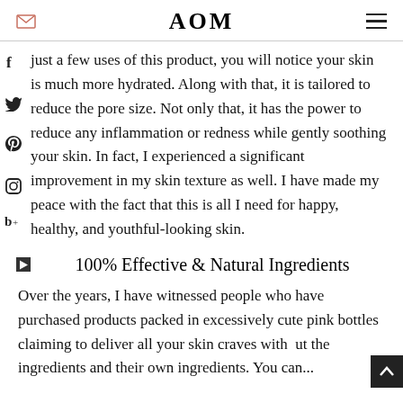AOM
just a few uses of this product, you will notice your skin is much more hydrated. Along with that, it is tailored to reduce the pore size. Not only that, it has the power to reduce any inflammation or redness while gently soothing your skin. In fact, I experienced a significant improvement in my skin texture as well. I have made my peace with the fact that this is all I need for happy, healthy, and youthful-looking skin.
100% Effective & Natural Ingredients
Over the years, I have witnessed people who have purchased products packed in excessively cute pink bottles claiming to deliver all your skin craves with ingredients and their own ingredients. You can...